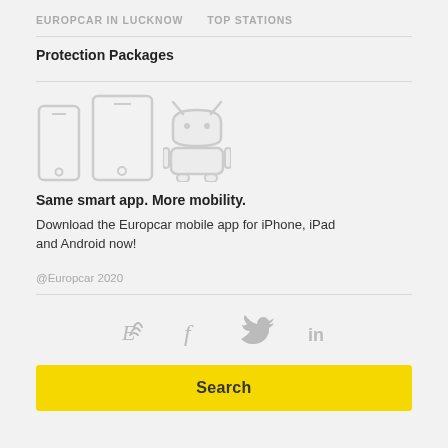EUROPCAR IN LUCKNOW   TOP STATIONS
Protection Packages
[Figure (illustration): Icons of a smartphone, tablet (iPad), and Android robot representing mobile apps]
Same smart app. More mobility.
Download the Europcar mobile app for iPhone, iPad and Android now!
@Europcar 2020
[Figure (illustration): Social media icons: Europcar blog (E with wifi signal), Facebook (f), Twitter (bird), LinkedIn (in)]
Search